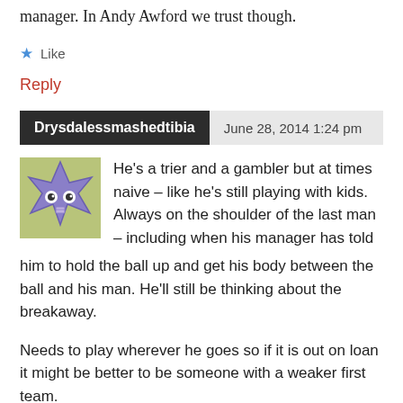manager. In Andy Awford we trust though.
★ Like
Reply
Drysdalessmashedtibia   June 28, 2014 1:24 pm
He's a trier and a gambler but at times naive – like he's still playing with kids. Always on the shoulder of the last man – including when his manager has told him to hold the ball up and get his body between the ball and his man. He'll still be thinking about the breakaway.
Needs to play wherever he goes so if it is out on loan it might be better to be someone with a weaker first team.